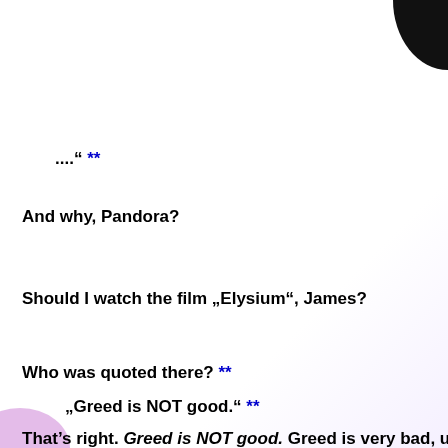...." **
And why, Pandora?
Should I watch the film „Elysium", James?
Who was quoted there? **
„Greed is NOT good." **
That's right. Greed is NOT good. Greed is very bad, u